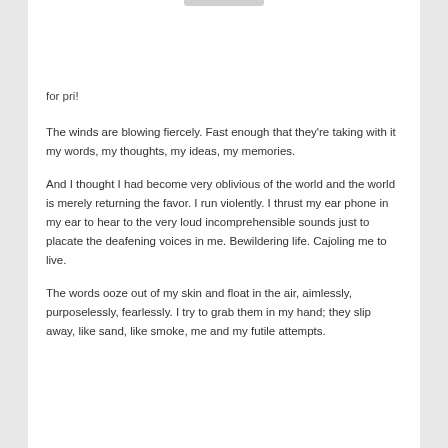for pri!
The winds are blowing fiercely. Fast enough that they're taking with it my words, my thoughts, my ideas, my memories.
And I thought I had become very oblivious of the world and the world is merely returning the favor. I run violently. I thrust my ear phone in my ear to hear to the very loud incomprehensible sounds just to placate the deafening voices in me. Bewildering life. Cajoling me to live.
The words ooze out of my skin and float in the air, aimlessly, purposelessly, fearlessly. I try to grab them in my hand; they slip away, like sand, like smoke, me and my futile attempts.